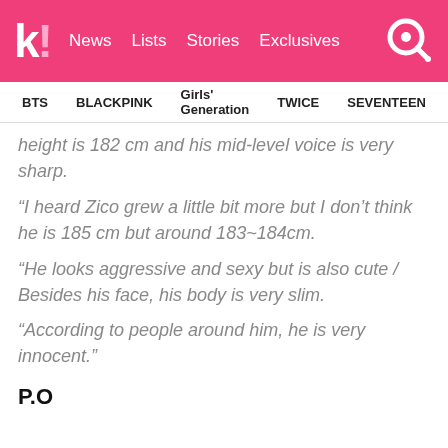K! News  Lists  Stories  Exclusives
BTS   BLACKPINK   Girls' Generation   TWICE   SEVENTEEN
height is 182 cm and his mid-level voice is very sharp.
“I heard Zico grew a little bit more but I don’t think he is 185 cm but around 183~184cm.
“He looks aggressive and sexy but is also cute / Besides his face, his body is very slim.
“According to people around him, he is very innocent.”
P.O